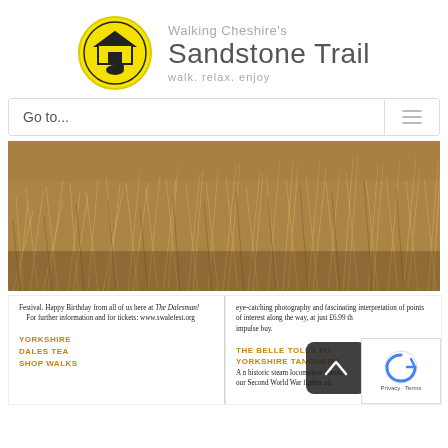Walking Cheshire's Sandstone Trail — walk. relax. enjoy
Go to...
[Figure (photo): Close-up photograph of dry golden-brown grass and moorland vegetation]
[Figure (photo): Snippet of a magazine page showing text about Swale Festival and Yorkshire Dales Tea Shop Walks on the left, and text about eye-catching photography and The Belle Tolls for Yorkshire Tangmere on the right, with a dark scroll-up button overlay and a reCAPTCHA widget]